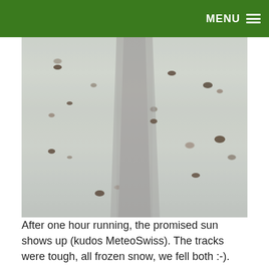MENU
[Figure (photo): Snowy path or track with frozen snow, viewed from above/ground level. Dark debris visible in the snow. Gray and white tones.]
After one hour running, the promised sun shows up (kudos MeteoSwiss). The tracks were tough, all frozen snow, we fell both :-).
[Figure (photo): Light blue sky with bare winter tree branches visible at the bottom of the frame.]